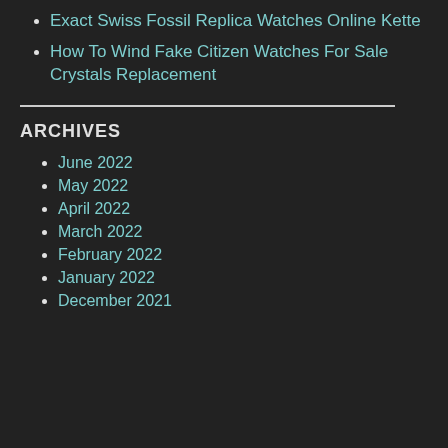Exact Swiss Fossil Replica Watches Online Kette
How To Wind Fake Citizen Watches For Sale Crystals Replacement
ARCHIVES
June 2022
May 2022
April 2022
March 2022
February 2022
January 2022
December 2021